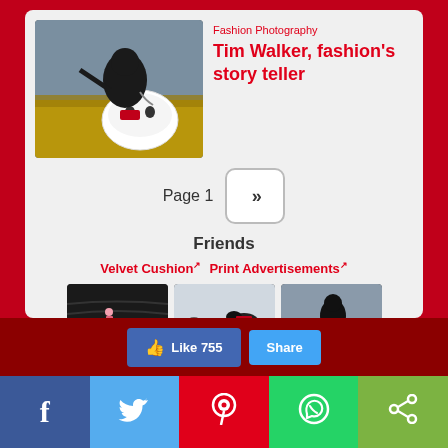[Figure (photo): Fashion photography: dark figure hatching from a large white egg in a wheat field]
Fashion Photography
Tim Walker, fashion's story teller
Page 1  »»
Friends
Velvet Cushion↗  Print Advertisements↗
[Figure (photo): Fashion photo: woman in pink dress in stadium seating]
[Figure (photo): Fashion photo: animals in snow scene]
[Figure (photo): Fashion photo: figure hatching from egg in field]
Like 755  Share
Facebook  Twitter  Pinterest  WhatsApp  Share